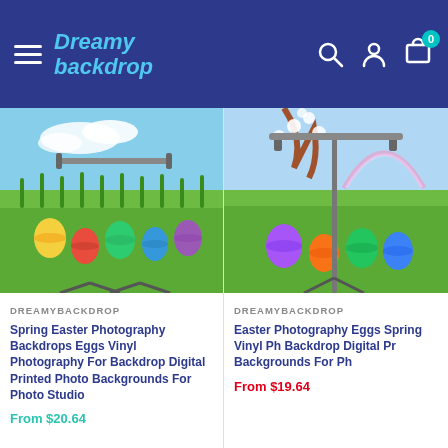Dreamy backdrop
[Figure (photo): Spring Easter Photography Backdrop product photo showing colorful Easter eggs and chicks on grass with blue sky background, displayed on a photography stand]
DREAMYBACKDROP
Spring Easter Photography Backdrops Eggs Vinyl Photography For Backdrop Digital Printed Photo Backgrounds For Photo Studio
From $20.64
[Figure (photo): Easter Photography Backdrop product photo showing colorful Easter eggs on bright green grass with flowering tree and blue sky, displayed on a photography stand]
DREAMYBACKDROP
Easter Photography Eggs Spring Vinyl Ph Backdrop Digital Pr Backgrounds For Ph
From $19.64